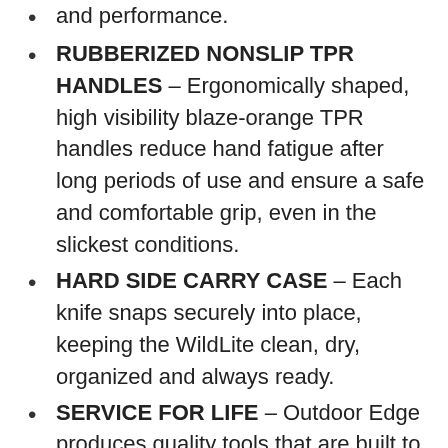and performance.
RUBBERIZED NONSLIP TPR HANDLES – Ergonomically shaped, high visibility blaze-orange TPR handles reduce hand fatigue after long periods of use and ensure a safe and comfortable grip, even in the slickest conditions.
HARD SIDE CARRY CASE – Each knife snaps securely into place, keeping the WildLite clean, dry, organized and always ready.
SERVICE FOR LIFE – Outdoor Edge produces quality tools that are built to last. If you have a problem with your Outdoor Edge knife contact us. We address all replacement and